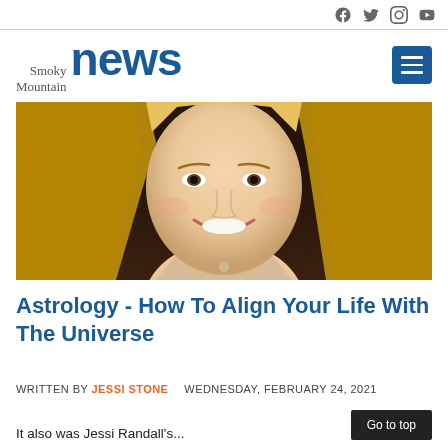Social icons: Facebook, Twitter, Instagram, YouTube
[Figure (logo): Smoky Mountain News logo with blue bold 'news' text and smaller serif 'Smoky Mountain' above]
[Figure (photo): Close-up photo of a smiling blonde woman in a beige top]
Astrology - How To Align Your Life With The Universe
WRITTEN BY JESSI STONE   WEDNESDAY, FEBRUARY 24, 2021
It also was Jessi Randall's...